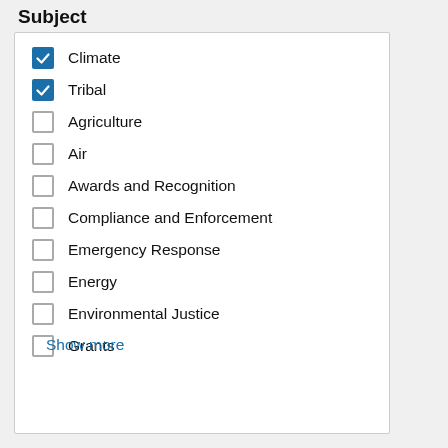Subject
Climate
Tribal
Agriculture
Air
Awards and Recognition
Compliance and Enforcement
Emergency Response
Energy
Environmental Justice
Grants
Show more